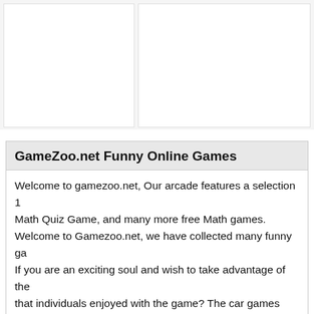[Figure (other): Two white advertisement placeholder boxes side by side on a light gray background]
GameZoo.net Funny Online Games
Welcome to gamezoo.net, Our arcade features a selection 1 Math Quiz Game, and many more free Math games. Welcome to Gamezoo.net, we have collected many funny ga If you are an exciting soul and wish to take advantage of the that individuals enjoyed with the game? The car games onli There is generally parking car games where a parking area involved. You must do this kind of without crashes suitable p difficult that whenever you do lock up you in turn become su There are more...